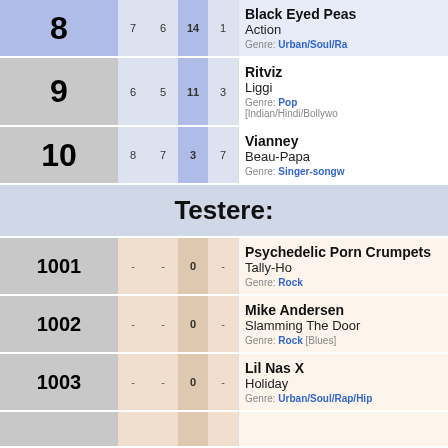| Rank | Prev | Peak | Weeks | Wks Top | Artist / Song / Genre |
| --- | --- | --- | --- | --- | --- |
| 8 | 7 | 6 | 14 | 1 | Black Eyed Peas / Action / Genre: Urban/Soul/Ra... |
| 9 | 6 | 5 | 11 | 3 | Ritviz / Liggi / Genre: Pop [Indian/Hindi/Bollywo... |
| 10 | 8 | 7 | 3 | 7 | Vianney / Beau-Papa / Genre: Singer-songw... |
| Testere: |  |  |  |  |  |
| 1001 | - | - | 0 | - | Psychedelic Porn Crumpets / Tally-Ho / Genre: Rock |
| 1002 | - | - | 0 | - | Mike Andersen / Slamming The Door / Genre: Rock [Blues] |
| 1003 | - | - | 0 | - | Lil Nas X / Holiday / Genre: Urban/Soul/Rap/Hip... |